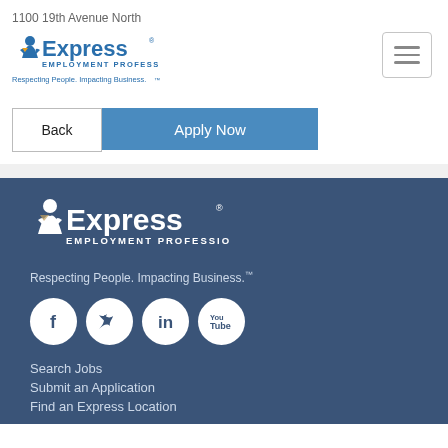1100 19th Avenue North
[Figure (logo): Express Employment Professionals logo with tagline 'Respecting People. Impacting Business.' in blue and header area with hamburger menu button]
Back  Apply Now
[Figure (logo): Express Employment Professionals logo in white on dark blue footer background with tagline 'Respecting People. Impacting Business.' and social media icons (Facebook, Twitter, LinkedIn, YouTube)]
Search Jobs
Submit an Application
Find an Express Location